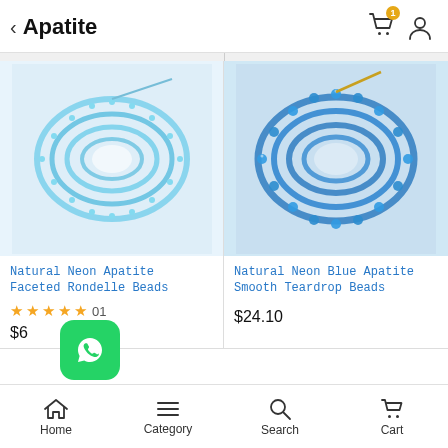Apatite
[Figure (photo): Natural Neon Apatite Faceted Rondelle Beads — strands of light blue faceted rondelle beads coiled together]
Natural Neon Apatite Faceted Rondelle Beads
★★★★★ 01
$60
[Figure (photo): Natural Neon Blue Apatite Smooth Teardrop Beads — strands of vivid blue smooth round beads coiled together]
Natural Neon Blue Apatite Smooth Teardrop Beads
$24.10
Home  Category  Search  Cart